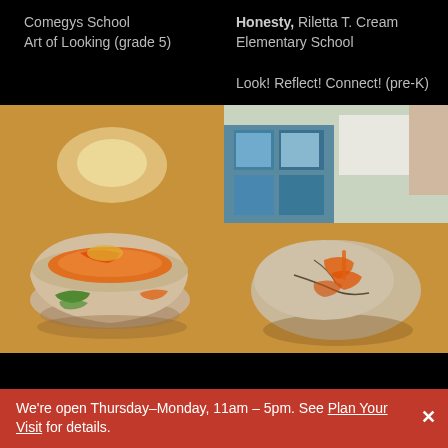Comegys School
Art of Looking (grade 5)
Honesty, Riletta T. Cream Elementary School
Look! Reflect! Connect! (pre-K)
[Figure (photo): Clay bowl with orange and green paint on a wooden table]
[Figure (photo): Clay sculpture with orange paint on a wooden table in a classroom]
We're open Thursday–Monday, 11am – 5pm. See Plan Your Visit for details.